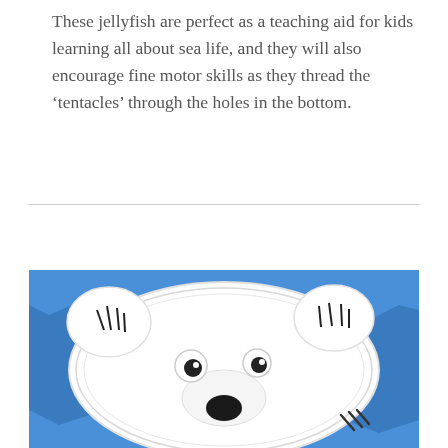These jellyfish are perfect as a teaching aid for kids learning all about sea life, and they will also encourage fine motor skills as they thread the ‘tentacles’ through the holes in the bottom.
[Figure (photo): A paper plate polar bear craft on a blue paper background. A large white paper plate forms the bear's round face/body, with two smaller white cut-out shapes forming ears on the sides. Black drawn lines indicate fur texture on the ears. Two googly eyes and a round black felt nose are attached to the face. Small black claw marks are drawn on the lower right. The bear sits on torn blue construction paper.]